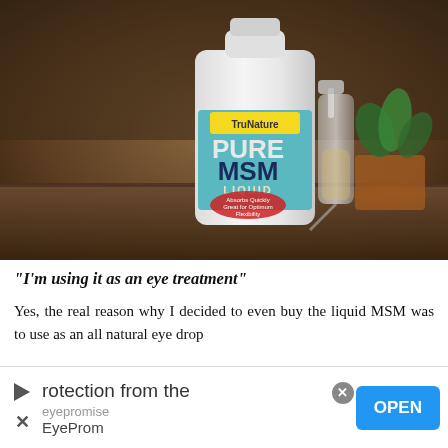[Figure (photo): Photo of a white bottle of TruNature Pure MSM Liquid supplement with a yellow and teal label, next to a small clear spray bottle, on a dark wooden surface with a terracotta plant pot in the background.]
"I'm using it as an eye treatment"
Yes, the real reason why I decided to even buy the liquid MSM was to use as an all natural eye drop
rotection from the   eyepromise   EyeProm   OPEN